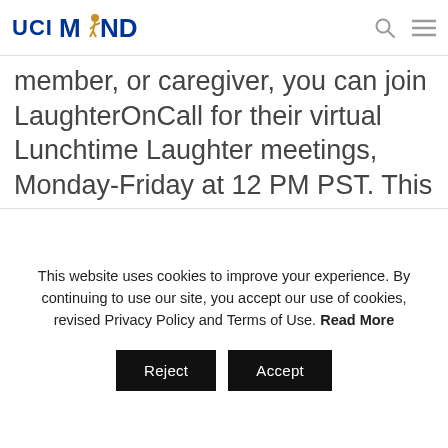UCI MIND
member, or caregiver, you can join LaughterOnCall for their virtual Lunchtime Laughter meetings, Monday-Friday at 12 PM PST. This webinar offers a light-hearted, engaging way to laugh and cope with feelings of isolation that can come from social distancing.    To register, visit https://zoom.us/meeting/register.
This website uses cookies to improve your experience. By continuing to use our site, you accept our use of cookies, revised Privacy Policy and Terms of Use. Read More
Reject    Accept